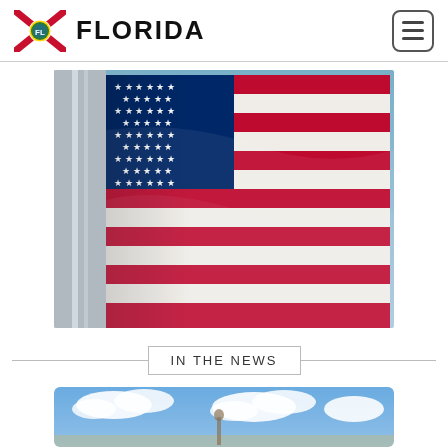FLORIDA
[Figure (photo): American flag waving against a blue sky, with flag pole visible on the left side. Red, white, and blue stripes and star field clearly visible.]
IN THE NEWS
[Figure (photo): Partial view of another image below the 'In the News' divider, showing blue sky with white clouds and what appears to be a structure or person at bottom.]